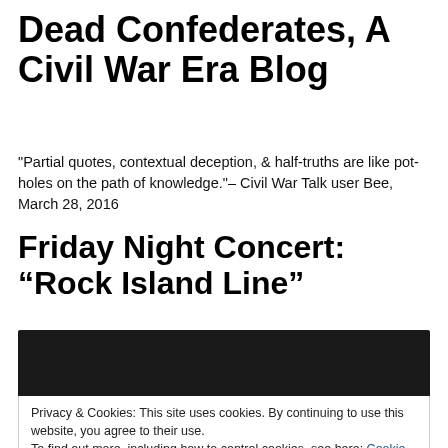Dead Confederates, A Civil War Era Blog
"Partial quotes, contextual deception, & half-truths are like pot-holes on the path of knowledge."– Civil War Talk user Bee, March 28, 2016
Friday Night Concert: “Rock Island Line”
[Figure (other): Dark/black banner image strip]
Privacy & Cookies: This site uses cookies. By continuing to use this website, you agree to their use.
To find out more, including how to control cookies, see here: Cookie Policy